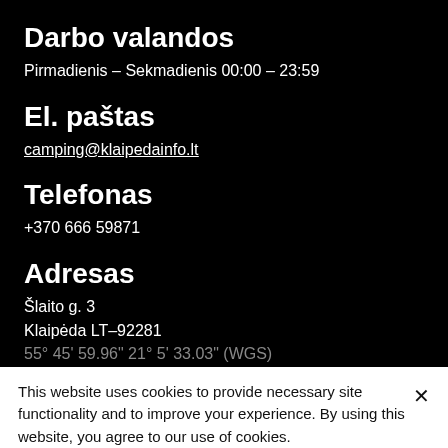Darbo valandos
Pirmadienis – Sekmadienis 00:00 – 23:59
El. paštas
camping@klaipedainfo.lt
Telefonas
+370 666 59871
Adresas
Šlaito g. 3
Klaipėda LT–92281
55° 45' 59.96" 21° 5' 33.03" (WGS)
This website uses cookies to provide necessary site functionality and to improve your experience. By using this website, you agree to our use of cookies.